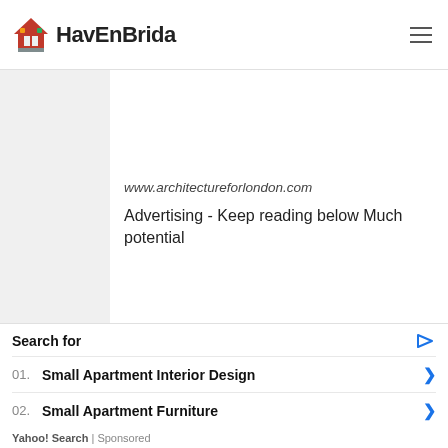HavEnBrida
www.architectureforlondon.com
Advertising - Keep reading below Much potential
[Figure (photo): Partial photograph showing a ceiling or wall fixture with a metallic hook/fastener]
Search for
01. Small Apartment Interior Design
02. Small Apartment Furniture
Yahoo! Search | Sponsored